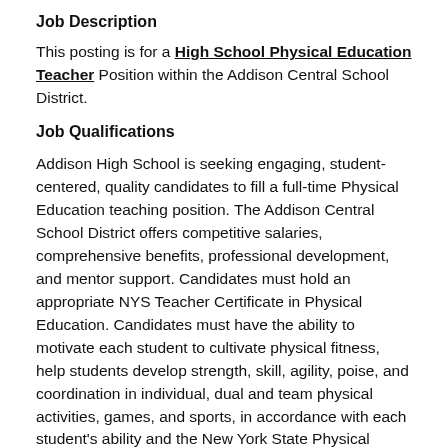Job Description
This posting is for a High School Physical Education Teacher Position within the Addison Central School District.
Job Qualifications
Addison High School is seeking engaging, student-centered, quality candidates to fill a full-time Physical Education teaching position. The Addison Central School District offers competitive salaries, comprehensive benefits, professional development, and mentor support. Candidates must hold an appropriate NYS Teacher Certificate in Physical Education. Candidates must have the ability to motivate each student to cultivate physical fitness, help students develop strength, skill, agility, poise, and coordination in individual, dual and team physical activities, games, and sports, in accordance with each student's ability and the New York State Physical Education Learning Standards; must be a team player; willing to assist grade level teams in supporting high school students; flexible; knowledge of learning styles and multiple strategies to facilitate student engagement. The ideal candidate will have experience working in the Physical Education classroom